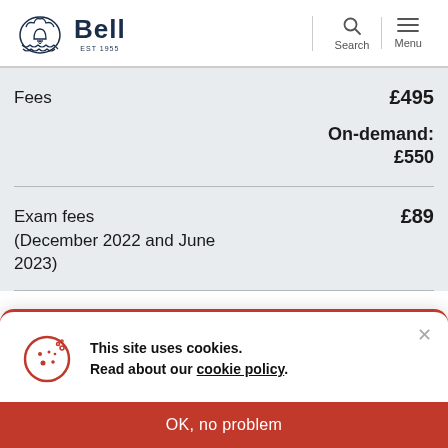[Figure (logo): Bell school logo with crest and text 'Bell EST 1955']
Fees £495
On-demand: £550
Exam fees (December 2022 and June 2023) £89
This site uses cookies. Read about our cookie policy.
OK, no problem